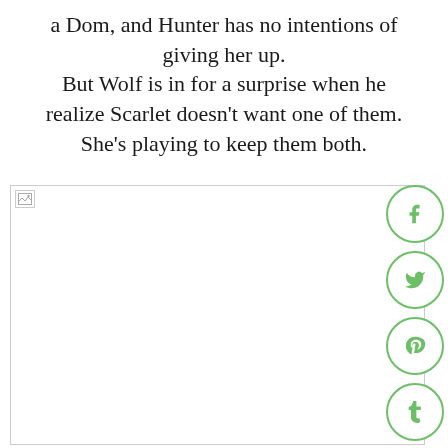a Dom, and Hunter has no intentions of giving her up. But Wolf is in for a surprise when he realize Scarlet doesn't want one of them. She's playing to keep them both.
[Figure (photo): A partially loaded image placeholder in the lower half of the page, with social media sharing icons (Facebook, Twitter, Pinterest, Tumblr, StumbleUpon) in green circles along the right side.]